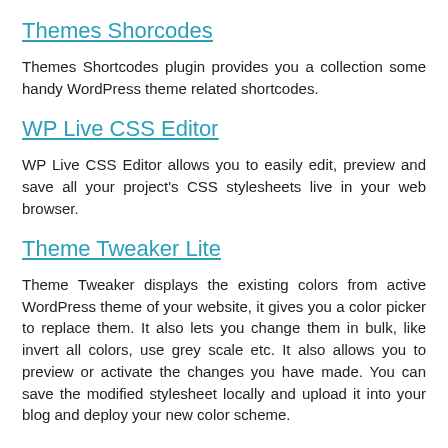Themes Shorcodes
Themes Shortcodes plugin provides you a collection some handy WordPress theme related shortcodes.
WP Live CSS Editor
WP Live CSS Editor allows you to easily edit, preview and save all your project's CSS stylesheets live in your web browser.
Theme Tweaker Lite
Theme Tweaker displays the existing colors from active WordPress theme of your website, it gives you a color picker to replace them. It also lets you change them in bulk, like invert all colors, use grey scale etc. It also allows you to preview or activate the changes you have made. You can save the modified stylesheet locally and upload it into your blog and deploy your new color scheme.